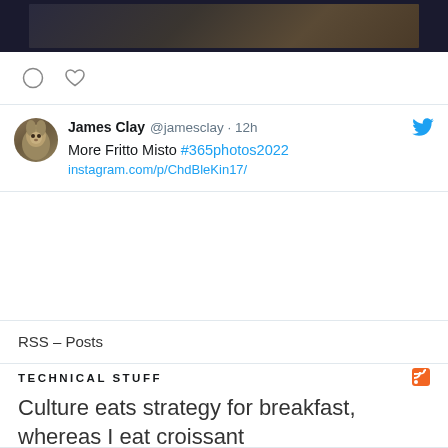[Figure (photo): Partial view of a photo - dark background with brownish tones, appears to be a person]
[Figure (illustration): Reaction icons: comment bubble circle and heart outline]
James Clay @jamesclay · 12h
More Fritto Misto #365photos2022
instagram.com/p/ChdBleKin17/
RSS – Posts
TECHNICAL STUFF
Culture eats strategy for breakfast, whereas I eat croissant